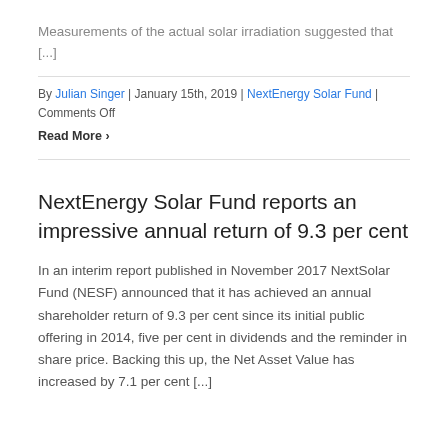Measurements of the actual solar irradiation suggested that [...]
By Julian Singer | January 15th, 2019 | NextEnergy Solar Fund | Comments Off
Read More >
NextEnergy Solar Fund reports an impressive annual return of 9.3 per cent
In an interim report published in November 2017 NextSolar Fund (NESF) announced that it has achieved an annual shareholder return of 9.3 per cent since its initial public offering in 2014, five per cent in dividends and the reminder in share price. Backing this up, the Net Asset Value has increased by 7.1 per cent [...]